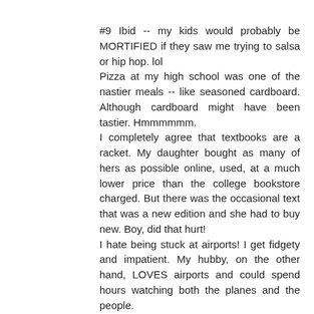#9 Ibid -- my kids would probably be MORTIFIED if they saw me trying to salsa or hip hop. lol
Pizza at my high school was one of the nastier meals -- like seasoned cardboard. Although cardboard might have been tastier. Hmmmmmm.
I completely agree that textbooks are a racket. My daughter bought as many of hers as possible online, used, at a much lower price than the college bookstore charged. But there was the occasional text that was a new edition and she had to buy new. Boy, did that hurt!
I hate being stuck at airports! I get fidgety and impatient. My hubby, on the other hand, LOVES airports and could spend hours watching both the planes and the people.
Have a great week!
Reply
Leelee August 26, 2010 at 9:22 AM
Love your answers...it is a "dream" of mine to wander through antique shops in England...we'll see if that ever happens...I feel your pain on the textbook cost, my oldest